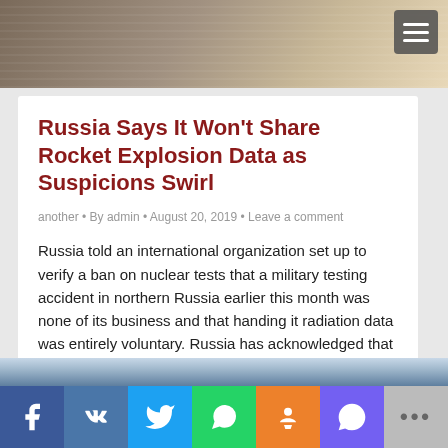[Figure (photo): Top header image showing what appears to be a scientific or laboratory setting with white-coated figures]
Russia Says It Won’t Share Rocket Explosion Data as Suspicions Swirl
another • By admin • August 20, 2019 • Leave a comment
Russia told an international organization set up to verify a ban on nuclear tests that a military testing accident in northern Russia earlier this month was none of its business and that handing it radiation data was entirely voluntary. Russia has acknowledged that five nuclear workers were killed in the explosion on Aug. 8, which…
[Figure (photo): Bottom image showing soldiers or armed figures against a cloudy sky with a utility pole]
Social share bar: Facebook, VK, Twitter, WhatsApp, Odnoklassniki, Viber, More